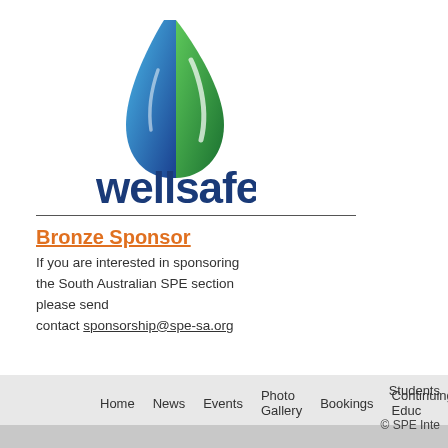[Figure (logo): Wellsafe logo: blue and green water drop / leaf shape above the word 'wellsafe' in dark blue bold text]
Bronze Sponsor
If you are interested in sponsoring the South Australian SPE section please send contact sponsorship@spe-sa.org
Home   News   Events   Photo Gallery   Bookings   Continuing Educ...   Students   © SPE Inte...